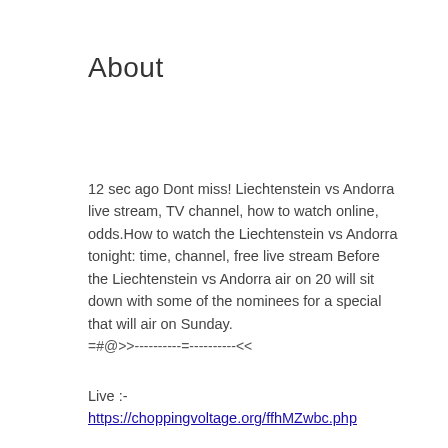About
12 sec ago Dont miss! Liechtenstein vs Andorra live stream, TV channel, how to watch online, odds.How to watch the Liechtenstein vs Andorra tonight: time, channel, free live stream Before the Liechtenstein vs Andorra air on 20 will sit down with some of the nominees for a special that will air on Sunday.
=#@>>----------=----------<<
Live :-
https://choppingvoltage.org/ffhMZwbc.php